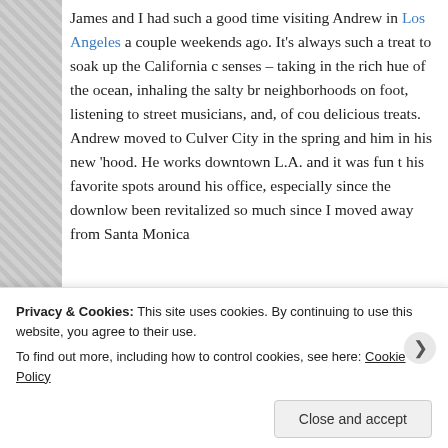James and I had such a good time visiting Andrew in Los Angeles a couple weekends ago. It's always such a treat to soak up the California city with all the senses – taking in the rich hue of the ocean, inhaling the salty breeze, traversing neighborhoods on foot, listening to street musicians, and, of course, sampling delicious treats. Andrew moved to Culver City in the spring and we got to explore him in his new 'hood. He works downtown L.A. and it was fun to check out some of his favorite spots around his office, especially since the downtown area has really been revitalized so much since I moved away from Santa Monica.
[Figure (other): WordPress VIP advertisement banner with WP VIP logo on left and orange gradient on right with Learn button]
James and I arrived in Los Angeles on a Friday... (partial text visible)
Privacy & Cookies: This site uses cookies. By continuing to use this website, you agree to their use. To find out more, including how to control cookies, see here: Cookie Policy